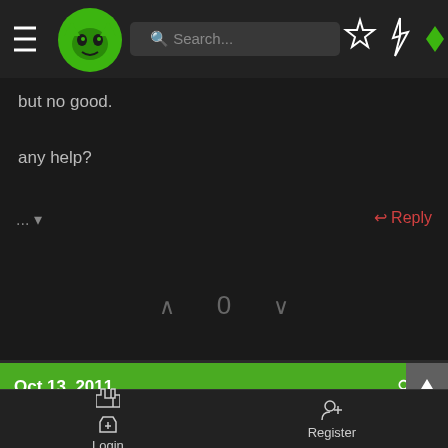[Figure (screenshot): Mobile app top navigation bar with hamburger menu, green cat/devil logo, search bar, star icon, lightning icon, and green diamond icon on dark background]
but no good.
any help?
... ▾
↩ Reply
∧  0  ∨
Oct 13, 2011
#4
Keysnsamples
Stuff n Thangs
7  CERTIFIED
Login
Register